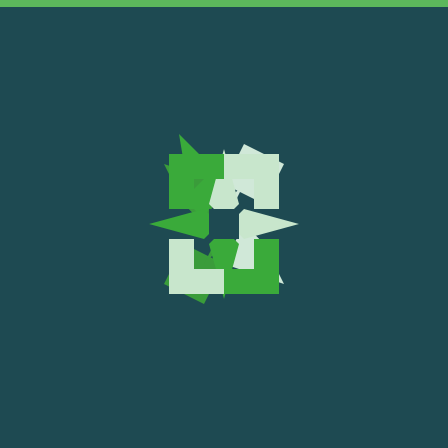[Figure (logo): A stylized cross/plus logo made of four arrow-like shapes pointing inward toward the center. The upper-left and lower-right quadrants are green (#3a8c3f), while the upper-right and lower-left quadrants are white/light. The overall background is dark teal (#1e4a52). A thin bright green bar runs across the very top of the page.]